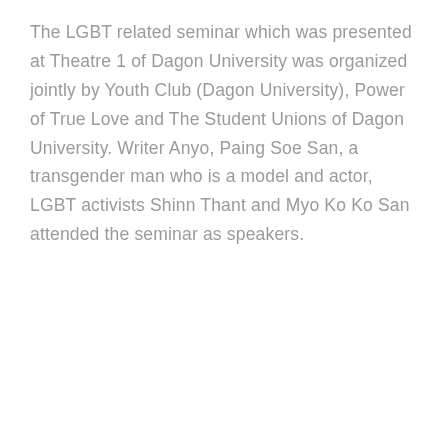The LGBT related seminar which was presented at Theatre 1 of Dagon University was organized jointly by Youth Club (Dagon University), Power of True Love and The Student Unions of Dagon University. Writer Anyo, Paing Soe San, a transgender man who is a model and actor, LGBT activists Shinn Thant and Myo Ko Ko San attended the seminar as speakers.